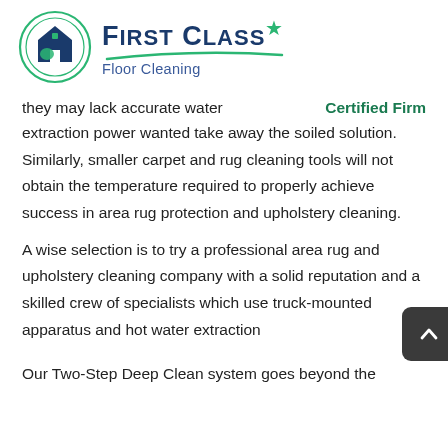[Figure (logo): First Class Floor Cleaning logo with circular icon on the left showing house/cleaning imagery in teal and dark blue, and company name text on the right with a green arc swoosh beneath it.]
they may lack accurate water extraction power wanted take away the soiled solution. Similarly, smaller carpet and rug cleaning tools will not obtain the temperature required to properly achieve success in area rug protection and upholstery cleaning.
A wise selection is to try a professional area rug and upholstery cleaning company with a solid reputation and a skilled crew of specialists which use truck-mounted apparatus and hot water extraction
Our Two-Step Deep Clean system goes beyond the